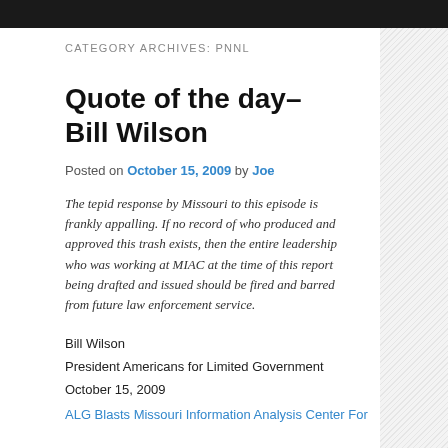CATEGORY ARCHIVES: PNNL
Quote of the day–Bill Wilson
Posted on October 15, 2009 by Joe
The tepid response by Missouri to this episode is frankly appalling. If no record of who produced and approved this trash exists, then the entire leadership who was working at MIAC at the time of this report being drafted and issued should be fired and barred from future law enforcement service.
Bill Wilson
President Americans for Limited Government
October 15, 2009
ALG Blasts Missouri Information Analysis Center For